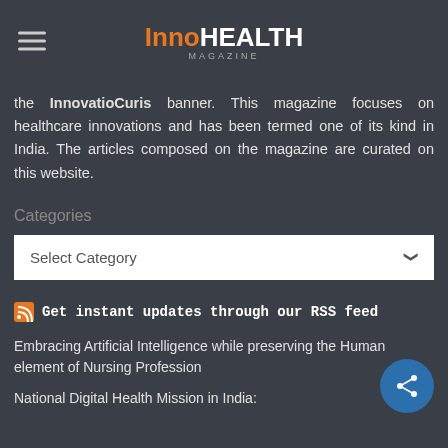InnoHEALTH MAGAZINE
the InnovatioCuris banner. This magazine focuses on healthcare innovations and has been termed one of its kind in India. The articles composed on the magazine are curated on this website.
Categories
Select Category
Get instant updates through our RSS feed
Embracing Artificial Intelligence while preserving the Human element of Nursing Profession
National Digital Health Mission in India: